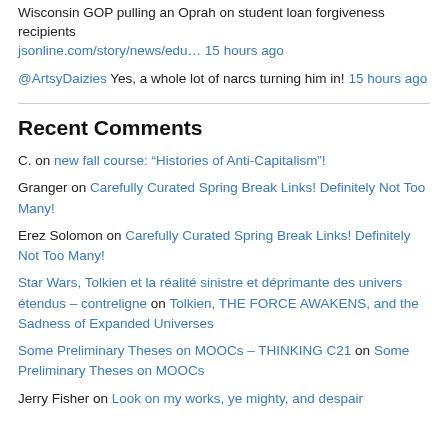Wisconsin GOP pulling an Oprah on student loan forgiveness recipients jsonline.com/story/news/edu… 15 hours ago
@ArtsyDaizies Yes, a whole lot of narcs turning him in! 15 hours ago
Recent Comments
C. on new fall course: “Histories of Anti-Capitalism”!
Granger on Carefully Curated Spring Break Links! Definitely Not Too Many!
Erez Solomon on Carefully Curated Spring Break Links! Definitely Not Too Many!
Star Wars, Tolkien et la réalité sinistre et déprimante des univers étendus – contreligne on Tolkien, THE FORCE AWAKENS, and the Sadness of Expanded Universes
Some Preliminary Theses on MOOCs – THINKING C21 on Some Preliminary Theses on MOOCs
Jerry Fisher on Look on my works, ye mighty, and despair